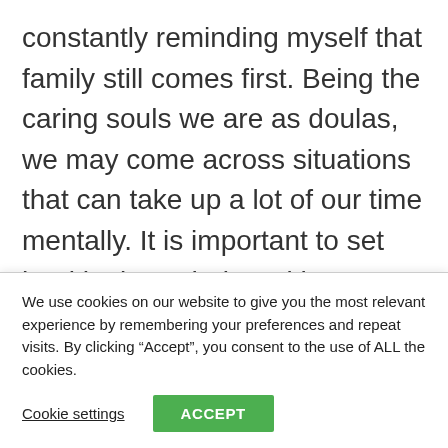constantly reminding myself that family still comes first. Being the caring souls we are as doulas, we may come across situations that can take up a lot of our time mentally. It is important to set healthy boundaries with my clients and make sure I still have the head space to be there for my family.
When I first certified as a doula my end goal
We use cookies on our website to give you the most relevant experience by remembering your preferences and repeat visits. By clicking “Accept”, you consent to the use of ALL the cookies.
Cookie settings
ACCEPT